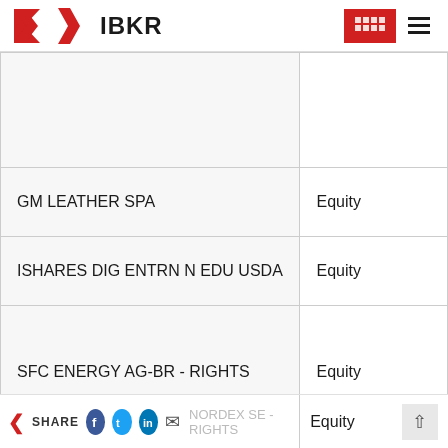IBKR
| Name | Type |
| --- | --- |
|  |  |
| GM LEATHER SPA | Equity |
| ISHARES DIG ENTRN N EDU USDA | Equity |
| SFC ENERGY AG-BR - RIGHTS | Equity |
| NORDEX SE - RIGHTS | Equity |
SHARE | NORDEX SE - RIGHTS | Equity